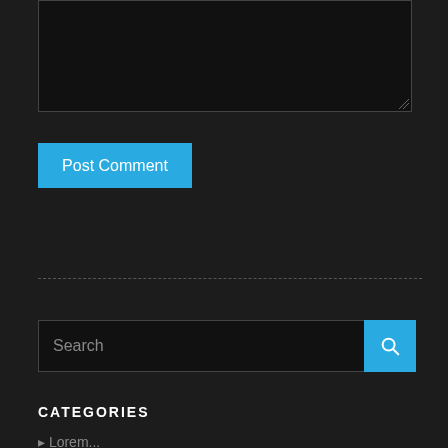[Figure (screenshot): Dark-themed textarea input field, nearly full-width, with a resize handle at the bottom-right corner]
[Figure (screenshot): Blue 'Post Comment' button]
[Figure (screenshot): Dashed horizontal divider line]
[Figure (screenshot): Search input field with blue search button containing magnifying glass icon]
CATEGORIES
▸ Lorem...